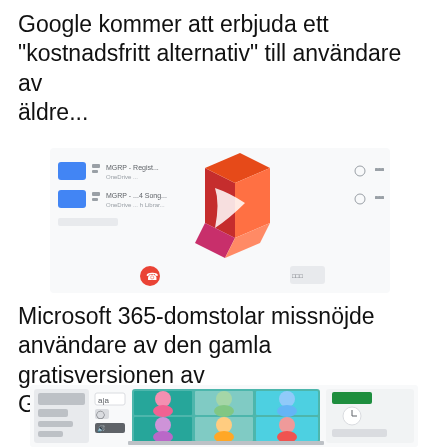Google kommer att erbjuda ett ”kostnadsfritt alternativ” till användare av äldre...
[Figure (screenshot): Screenshot of a file listing interface (OneDrive or similar) with the Microsoft 365 logo (colourful abstract cube shape in red, orange and pink) overlaid in the centre.]
Microsoft 365-domstolar missnöjde användare av den gamla gratisversionen av G Suite...
[Figure (screenshot): Screenshot of a video conferencing / Google Meet-style interface showing a laptop with a tiled grid of cartoon avatar participants on a teal background, with some UI panels on either side.]